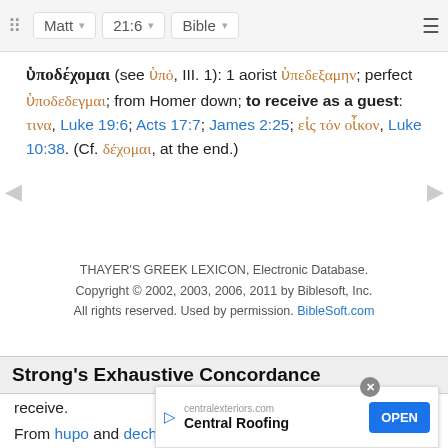Matt | 21:6 | Bible
ὑποδέχομαι (see ὑπό, III. 1): 1 aorist ὑπεδεξαμην; perfect ὑποδεδεγμαι; from Homer down; to receive as a guest: τινα, Luke 19:6; Acts 17:7; James 2:25; εἰς τόν οἶκον, Luke 10:38. (Cf. δέχομαι, at the end.)
THAYER'S GREEK LEXICON, Electronic Database. Copyright © 2002, 2003, 2006, 2011 by Biblesoft, Inc. All rights reserved. Used by permission. BibleSoft.com
Strong's Exhaustive Concordance
receive.
From hupo and dechomai; to admit under one's roof, i.e. Entertain hospitably — receive.
see G